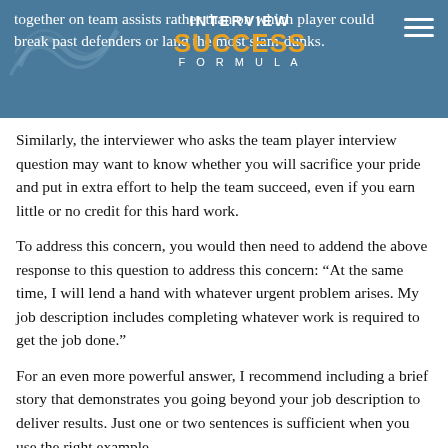together on team assists rather than on which player could break past defenders or land the most slam-dunks.
Similarly, the interviewer who asks the team player interview question may want to know whether you will sacrifice your pride and put in extra effort to help the team succeed, even if you earn little or no credit for this hard work.
To address this concern, you would then need to addend the above response to this question to address this concern: “At the same time, I will lend a hand with whatever urgent problem arises. My job description includes completing whatever work is required to get the job done.”
For an even more powerful answer, I recommend including a brief story that demonstrates you going beyond your job description to deliver results. Just one or two sentences is sufficient when you use the right example.